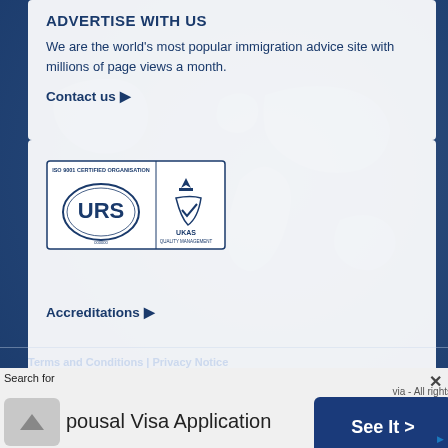ADVERTISE WITH US
We are the world's most popular immigration advice site with millions of page views a month.
Contact us ▶
[Figure (logo): URS ISO 9001 Certified Organisation logo with UKAS Quality Management badge]
Accreditations ▶
Terms and Conditions | Privacy Notice
Search for
Spousal Visa Application
Via - All rights See It >